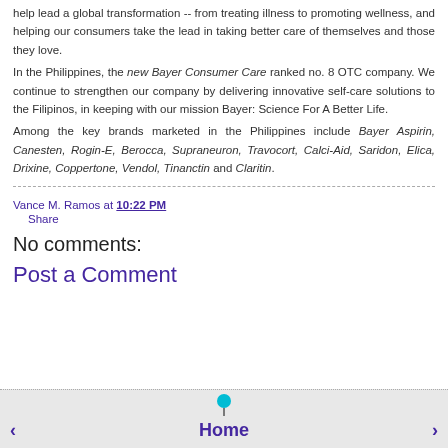help lead a global transformation -- from treating illness to promoting wellness, and helping our consumers take the lead in taking better care of themselves and those they love.
In the Philippines, the new Bayer Consumer Care ranked no. 8 OTC company. We continue to strengthen our company by delivering innovative self-care solutions to the Filipinos, in keeping with our mission Bayer: Science For A Better Life.
Among the key brands marketed in the Philippines include Bayer Aspirin, Canesten, Rogin-E, Berocca, Supraneuron, Travocort, Calci-Aid, Saridon, Elica, Drixine, Coppertone, Vendol, Tinanctin and Claritin.
Vance M. Ramos at 10:22 PM
Share
No comments:
Post a Comment
< Home >